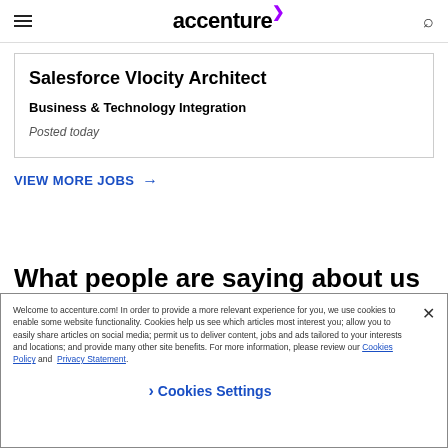accenture
Salesforce Vlocity Architect
Business & Technology Integration
Posted today
VIEW MORE JOBS →
What people are saying about us
Welcome to accenture.com! In order to provide a more relevant experience for you, we use cookies to enable some website functionality. Cookies help us see which articles most interest you; allow you to easily share articles on social media; permit us to deliver content, jobs and ads tailored to your interests and locations; and provide many other site benefits. For more information, please review our Cookies Policy and Privacy Statement.
Cookies Settings